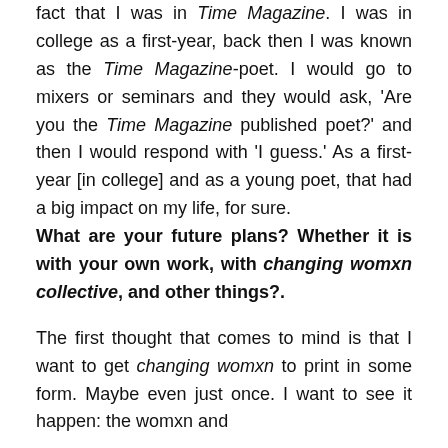fact that I was in Time Magazine. I was in college as a first-year, back then I was known as the Time Magazine-poet. I would go to mixers or seminars and they would ask, 'Are you the Time Magazine published poet?' and then I would respond with 'I guess.' As a first-year [in college] and as a young poet, that had a big impact on my life, for sure.
What are your future plans? Whether it is with your own work, with changing womxn collective, and other things?.
The first thought that comes to mind is that I want to get changing womxn to print in some form. Maybe even just once. I want to see it happen: the womxn and